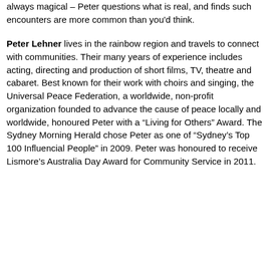always magical – Peter questions what is real, and finds such encounters are more common than you'd think.
Peter Lehner lives in the rainbow region and travels to connect with communities. Their many years of experience includes acting, directing and production of short films, TV, theatre and cabaret. Best known for their work with choirs and singing, the Universal Peace Federation, a worldwide, non-profit organization founded to advance the cause of peace locally and worldwide, honoured Peter with a “Living for Others” Award. The Sydney Morning Herald chose Peter as one of “Sydney’s Top 100 Influencial People” in 2009. Peter was honoured to receive Lismore’s Australia Day Award for Community Service in 2011.